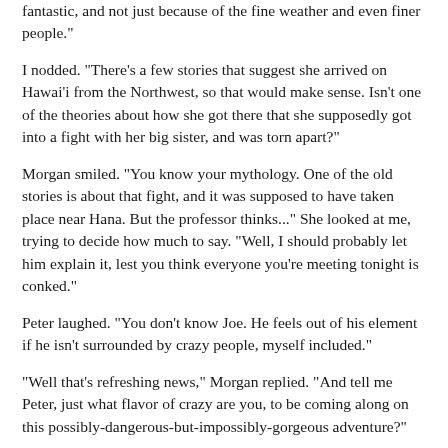fantastic, and not just because of the fine weather and even finer people."
I nodded. "There's a few stories that suggest she arrived on Hawai'i from the Northwest, so that would make sense. Isn't one of the theories about how she got there that she supposedly got into a fight with her big sister, and was torn apart?"
Morgan smiled. "You know your mythology. One of the old stories is about that fight, and it was supposed to have taken place near Hana. But the professor thinks..." She looked at me, trying to decide how much to say. "Well, I should probably let him explain it, lest you think everyone you're meeting tonight is conked."
Peter laughed. "You don't know Joe. He feels out of his element if he isn't surrounded by crazy people, myself included."
"Well that's refreshing news," Morgan replied. "And tell me Peter, just what flavor of crazy are you, to be coming along on this possibly-dangerous-but-impossibly-gorgeous adventure?"
"For starters, I get separation anxiety. Also, I have to keep Joe out